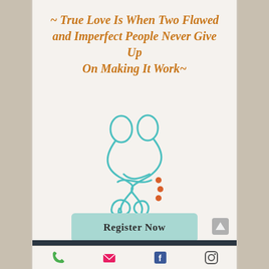~ True Love Is When Two Flawed and Imperfect People Never Give Up On Making It Work~
[Figure (illustration): Teal/turquoise line art illustration of two interlocked human figures forming an infinity-like shape, with three orange/red dots on the right side]
Register Now
©2017 Lifeworks Mental Health
[Figure (infographic): Bottom navigation bar with phone, email, Facebook, and Instagram icons]